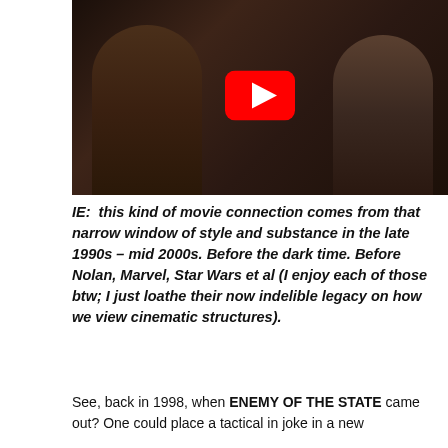[Figure (screenshot): YouTube video thumbnail showing two male figures in dark clothing against a dark background, with a red YouTube play button overlay in the center]
IE:  this kind of movie connection comes from that narrow window of style and substance in the late 1990s – mid 2000s. Before the dark time. Before Nolan, Marvel, Star Wars et al (I enjoy each of those btw; I just loathe their now indelible legacy on how we view cinematic structures).
See, back in 1998, when ENEMY OF THE STATE came out? One could place a tactical in joke in a new